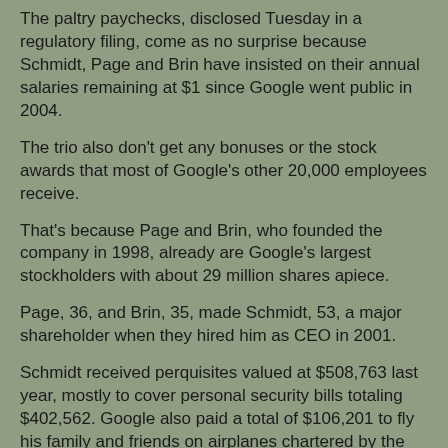The paltry paychecks, disclosed Tuesday in a regulatory filing, come as no surprise because Schmidt, Page and Brin have insisted on their annual salaries remaining at $1 since Google went public in 2004.
The trio also don't get any bonuses or the stock awards that most of Google's other 20,000 employees receive.
That's because Page and Brin, who founded the company in 1998, already are Google's largest stockholders with about 29 million shares apiece.
Page, 36, and Brin, 35, made Schmidt, 53, a major shareholder when they hired him as CEO in 2001.
Schmidt received perquisites valued at $508,763 last year, mostly to cover personal security bills totaling $402,562. Google also paid a total of $106,201 to fly his family and friends on airplanes chartered by the Mountain View, Calif.-based company.
Including his perks, Schmidt's 2008 compensation package also shows 0 percent from 2007, when his package totaled...